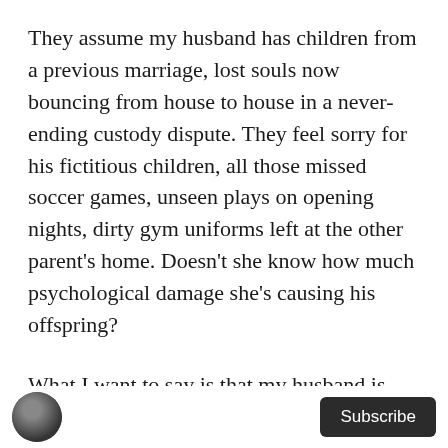They assume my husband has children from a previous marriage, lost souls now bouncing from house to house in a never-ending custody dispute. They feel sorry for his fictitious children, all those missed soccer games, unseen plays on opening nights, dirty gym uniforms left at the other parent’s home. Doesn’t she know how much psychological damage she’s causing his offspring?
What I want to say is that my husband is childless by choice.
And due to our age difference? He has made that